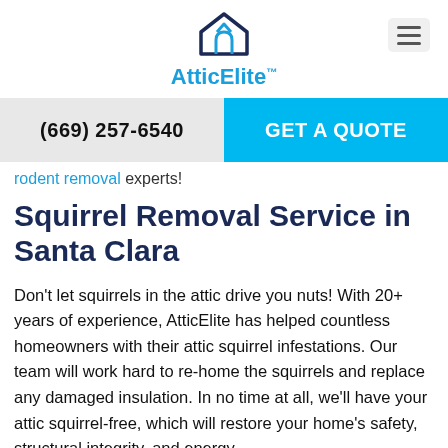AtticElite™
(669) 257-6540 | GET A QUOTE
rodent removal experts!
Squirrel Removal Service in Santa Clara
Don't let squirrels in the attic drive you nuts! With 20+ years of experience, AtticElite has helped countless homeowners with their attic squirrel infestations. Our team will work hard to re-home the squirrels and replace any damaged insulation. In no time at all, we'll have your attic squirrel-free, which will restore your home's safety, structural integrity, and energy